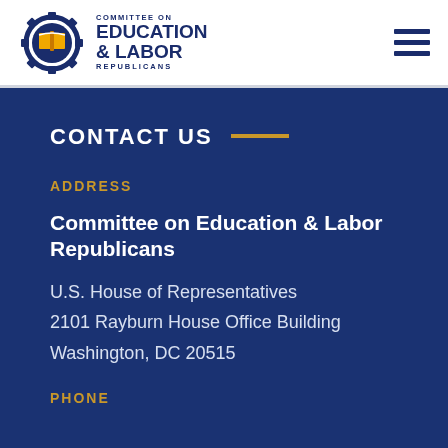[Figure (logo): Committee on Education & Labor Republicans logo with gear and book icon]
CONTACT US
ADDRESS
Committee on Education & Labor Republicans
U.S. House of Representatives
2101 Rayburn House Office Building
Washington, DC 20515
PHONE